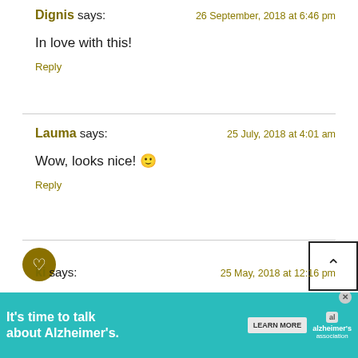Dignis says: — 26 September, 2018 at 6:46 pm
In love with this!
Reply
Lauma says: — 25 July, 2018 at 4:01 am
Wow, looks nice! 🙂
Reply
ki says: — 25 May, 2018 at 12:16 pm
He... ur new be... ue (sand
[Figure (infographic): Alzheimer's Association advertisement banner: 'It's time to talk about Alzheimer's.' with LEARN MORE button and Alzheimer's Association logo]